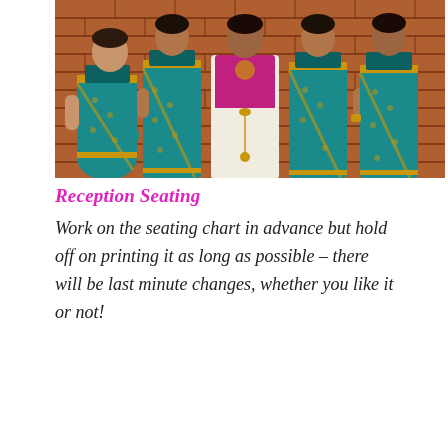[Figure (photo): Four women wearing teal/turquoise saris with gold embroidered borders posing in front of a red brick wall. The woman in the center wears a white and magenta/pink outfit. The women on the left and center-left are pregnant.]
Reception Seating
Work on the seating chart in advance but hold off on printing it as long as possible – there will be last minute changes, whether you like it or not!